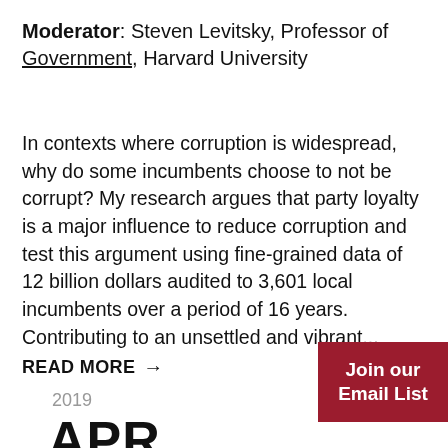Moderator: Steven Levitsky, Professor of Government, Harvard University
In contexts where corruption is widespread, why do some incumbents choose to not be corrupt? My research argues that party loyalty is a major influence to reduce corruption and test this argument using fine-grained data of 12 billion dollars audited to 3,601 local incumbents over a period of 16 years. Contributing to an unsettled and vibrant...
READ MORE →
Join our Email List
2019
APR